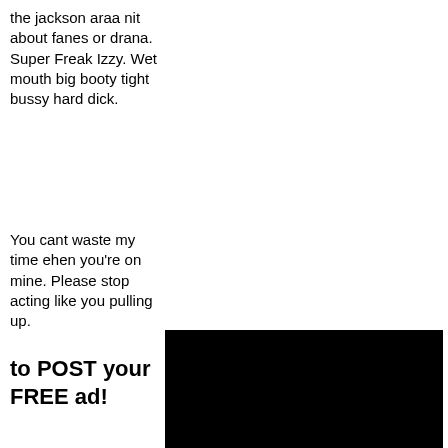the jackson araa nit about fanes or drana. Super Freak Izzy. Wet mouth big booty tight bussy hard dick.
You cant waste my time ehen you're on mine. Please stop acting like you pulling up.
to POST your FREE ad!
[Figure (screenshot): Black rectangle with 'Tap to register' text overlay in gray]